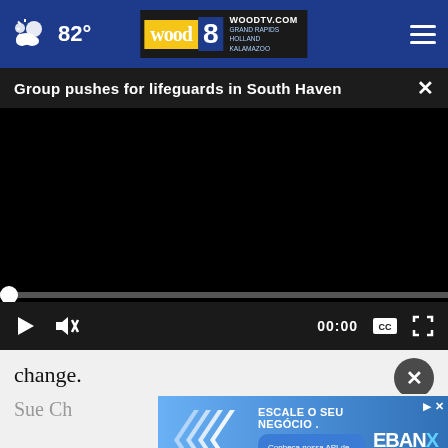82° WOODTV.COM GRAND RAPIDS HOLLAND KALAMAZOO
Group pushes for lifeguards in South Haven
[Figure (screenshot): Black video player screen with progress bar and playback controls showing 00:00 timestamp]
change.
Sue Ch
Chambers, disappeared while swimming in Lake